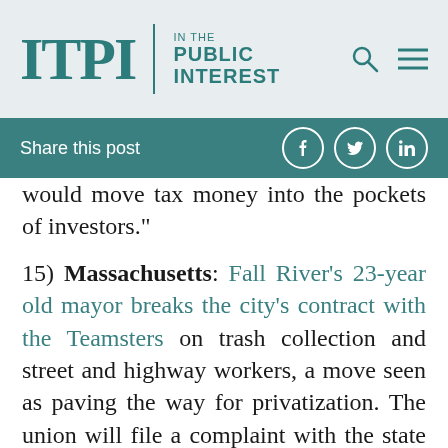ITPI | IN THE PUBLIC INTEREST
Share this post
would move tax money into the pockets of investors.”
15) Massachusetts: Fall River’s 23-year old mayor breaks the city’s contract with the Teamsters on trash collection and street and highway workers, a move seen as paving the way for privatization. The union will file a complaint with the state labor relations board. Herald News columnist Marc Munroe Dion says “Correia knows that stepping all over the guys at the bottom will get him the